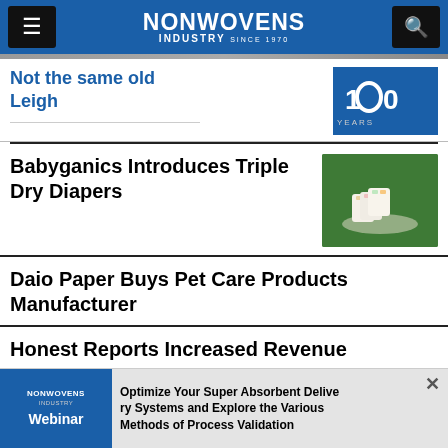NONWOVENS INDUSTRY
[Figure (screenshot): Nonwovens Industry website screenshot showing navigation header with menu button, NONWOVENS INDUSTRY logo, and search button on blue background. Below shows article listings.]
Not the same old Leigh
[Figure (photo): 100 Years badge/logo on blue background with person in background]
Babyganics Introduces Triple Dry Diapers
[Figure (photo): Diapers stacked on green background]
Daio Paper Buys Pet Care Products Manufacturer
Honest Reports Increased Revenue
Optimize Your Super Absorbent Delivery Systems and Explore the Various Methods of Process Validation